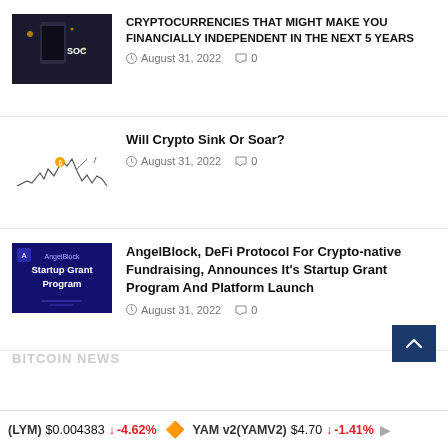[Figure (screenshot): Dark thumbnail image with phone and crypto text, 'SOC' visible]
CRYPTOCURRENCIES THAT MIGHT MAKE YOU FINANCIALLY INDEPENDENT IN THE NEXT 5 YEARS
August 31, 2022   0
[Figure (continuous-plot): Small line chart showing crypto price movement with orange Bitcoin coin marker]
Will Crypto Sink Or Soar?
August 31, 2022   0
[Figure (screenshot): AngelBlock Startup Grant Program dark blue promotional image]
AngelBlock, DeFi Protocol For Crypto-native Fundraising, Announces It's Startup Grant Program And Platform Launch
August 31, 2022   0
(LYM) $0.004383 ↓ -4.62%   YAM v2(YAMV2) $4.70 ↓ -1.41%